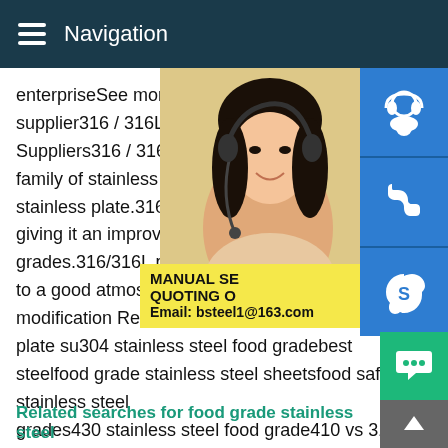Navigation
enterpriseSee more videos of food grade stainless steel supplier316 / 316L Stainless Steel Plate - Suppliers316 / 316L stainless steel plates family of stainless steel and is the most widely used stainless plate.316 grades contain a higher content giving it an improved corrosion resistance than other grades.316/316L plate is a good option for applications to a good atmospheric corrosion resistance modification Related searches for food grade stainless plate su304 stainless steel food gradebest stainless steelfood grade stainless steel sheetsfood safe stainless steel grades430 stainless steel food grade410 vs 316 stainless steel316 stainless plate suppliersfood grade 316 stainless steelSome results are removed in response to a notice of local law requirement.R more information,please see here.
[Figure (photo): Customer service representative woman with headset smiling]
MANUAL SE QUOTING O Email: bsteel1@163.com
Related searches for food grade stainless steel